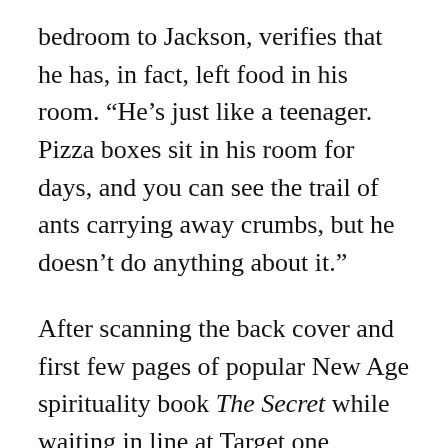bedroom to Jackson, verifies that he has, in fact, left food in his room. “He’s just like a teenager. Pizza boxes sit in his room for days, and you can see the trail of ants carrying away crumbs, but he doesn’t do anything about it.”
After scanning the back cover and first few pages of popular New Age spirituality book The Secret while waiting in line at Target one evening, Jackson began to think that maybe his best bet would be to use the “law of attraction” to “manifest” a bathroom free of ants.
“I don’t know if the mouthwash attracts them or what. I always put the lid back on tightly, but